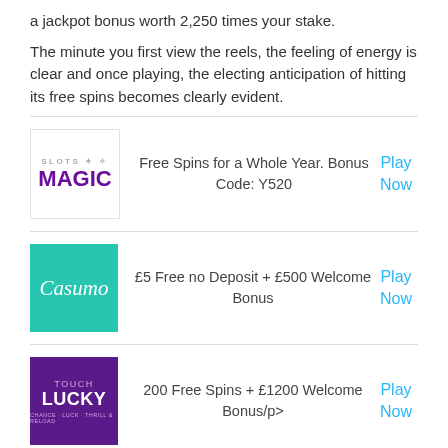a jackpot bonus worth 2,250 times your stake.
The minute you first view the reels, the feeling of energy is clear and once playing, the electing anticipation of hitting its free spins becomes clearly evident.
Free Spins for a Whole Year. Bonus Code: Y520 | Play Now
£5 Free no Deposit + £500 Welcome Bonus | Play Now
200 Free Spins + £1200 Welcome Bonus/p> | Play Now
£200 up to £300 Welcome Bonus | Play